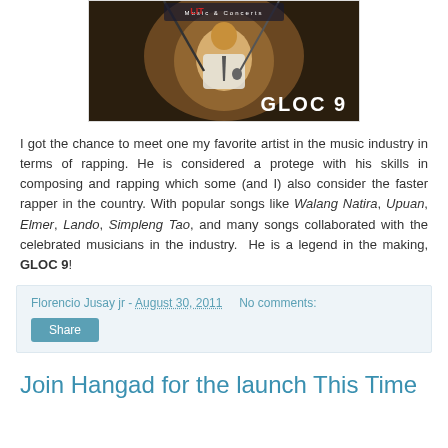[Figure (photo): Photo of GLOC 9 performing/recording, with 'Music & Concerts' label at top and 'GLOC 9' text overlay at bottom right. Dark studio/stage scene with a person singing into a microphone.]
I got the chance to meet one my favorite artist in the music industry in terms of rapping. He is considered a protege with his skills in composing and rapping which some (and I) also consider the faster rapper in the country. With popular songs like Walang Natira, Upuan, Elmer, Lando, Simpleng Tao, and many songs collaborated with the celebrated musicians in the industry. He is a legend in the making, GLOC 9!
Florencio Jusay jr - August 30, 2011    No comments:
Share
Join Hangad for the launch This Time